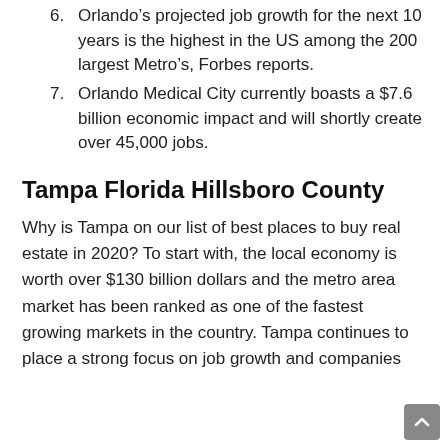6. Orlando's projected job growth for the next 10 years is the highest in the US among the 200 largest Metro's, Forbes reports.
7. Orlando Medical City currently boasts a $7.6 billion economic impact and will shortly create over 45,000 jobs.
Tampa Florida Hillsboro County
Why is Tampa on our list of best places to buy real estate in 2020? To start with, the local economy is worth over $130 billion dollars and the metro area market has been ranked as one of the fastest growing markets in the country. Tampa continues to place a strong focus on job growth and companies